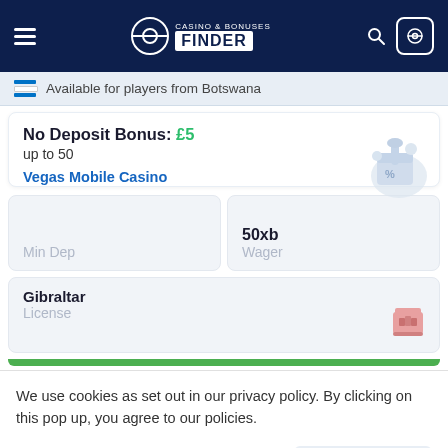[Figure (screenshot): Casino & Bonuses Finder website header with dark navy background, hamburger menu on left, logo in center (circle icon with CASINO & BONUSES FINDER text), search and user icons on right]
Available for players from Botswana
No Deposit Bonus: £5
up to 50
Vegas Mobile Casino
Min Dep
50xb
Wager
Gibraltar
License
We use cookies as set out in our privacy policy. By clicking on this pop up, you agree to our policies.
Read the privacy policy
It's OK For Me